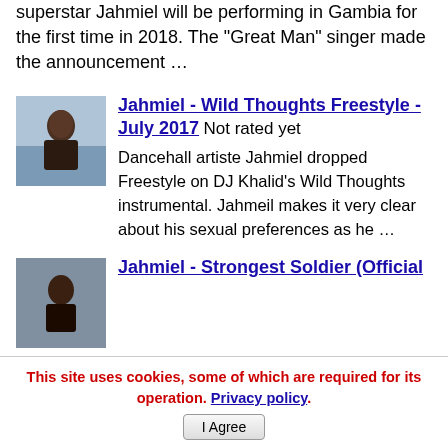superstar Jahmiel will be performing in Gambia for the first time in 2018. The "Great Man" singer made the announcement …
[Figure (photo): Thumbnail photo of Jahmiel sitting outdoors]
Jahmiel - Wild Thoughts Freestyle - July 2017  Not rated yet
Dancehall artiste Jahmiel dropped Freestyle on DJ Khalid's Wild Thoughts instrumental. Jahmeil makes it very clear about his sexual preferences as he …
[Figure (photo): Thumbnail photo for Jahmiel - Strongest Soldier article]
Jahmiel - Strongest Soldier (Official
This site uses cookies, some of which are required for its operation. Privacy policy. I Agree